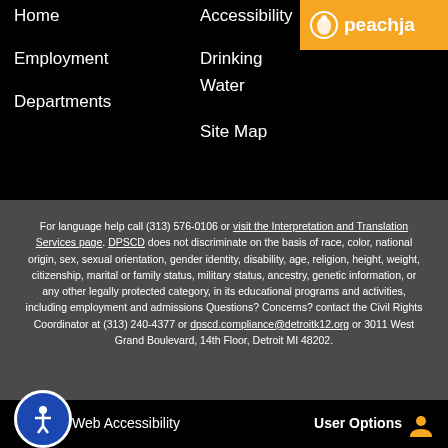Home
Employment
Departments
Accessibility
Drinking Water
Site Map
[Figure (logo): Peachjar logo badge with orange background, peach icon and text 'peachja']
For language help call (313) 576-0106 or visit the Interpretation and Translation Services page. DPSCD does not discriminate on the basis of race, color, national origin, sex, sexual orientation, gender identity, disability, age, religion, height, weight, citizenship, marital or family status, military status, ancestry, genetic information, or any other legally protected category, in its educational programs and activities, including employment and admissions Questions? Concerns? contact the Civil Rights Coordinator at (313) 240-4377 or dpscd.compliance@detroitk12.org or 3011 West Grand Boulevard, 14th Floor, Detroit MI 48202.
Web Accessibility   User Options